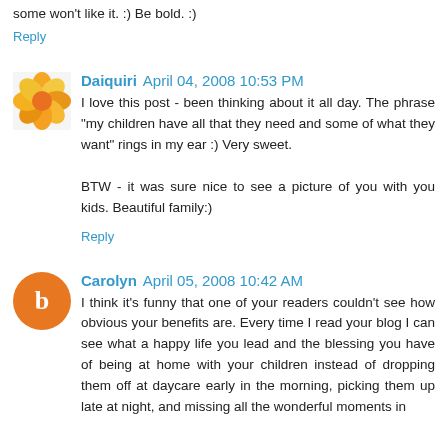some won't like it. :) Be bold. :)
Reply
Daiquiri  April 04, 2008 10:53 PM
I love this post - been thinking about it all day. The phrase "my children have all that they need and some of what they want" rings in my ear :) Very sweet.

BTW - it was sure nice to see a picture of you with you kids. Beautiful family:)
Reply
Carolyn  April 05, 2008 10:42 AM
I think it's funny that one of your readers couldn't see how obvious your benefits are. Every time I read your blog I can see what a happy life you lead and the blessing you have of being at home with your children instead of dropping them off at daycare early in the morning, picking them up late at night, and missing all the wonderful moments in